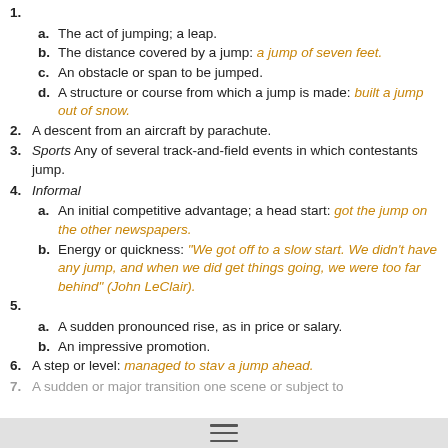1.
a. The act of jumping; a leap.
b. The distance covered by a jump: a jump of seven feet.
c. An obstacle or span to be jumped.
d. A structure or course from which a jump is made: built a jump out of snow.
2. A descent from an aircraft by parachute.
3. Sports Any of several track-and-field events in which contestants jump.
4. Informal
a. An initial competitive advantage; a head start: got the jump on the other newspapers.
b. Energy or quickness: "We got off to a slow start. We didn't have any jump, and when we did get things going, we were too far behind" (John LeClair).
5.
a. A sudden pronounced rise, as in price or salary.
b. An impressive promotion.
6. A step or level: managed to stav a jump ahead.
7. A sudden or major transition from one scene or subject to